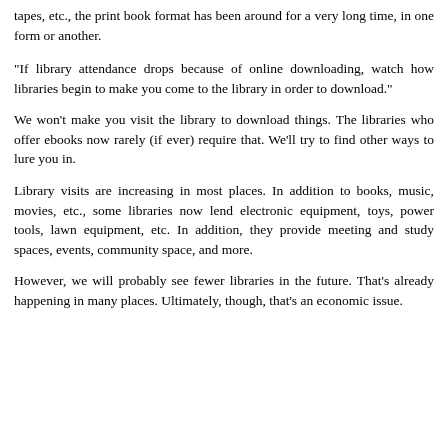tapes, etc., the print book format has been around for a very long time, in one form or another.
"If library attendance drops because of online downloading, watch how libraries begin to make you come to the library in order to download."
We won't make you visit the library to download things. The libraries who offer ebooks now rarely (if ever) require that. We'll try to find other ways to lure you in.
Library visits are increasing in most places. In addition to books, music, movies, etc., some libraries now lend electronic equipment, toys, power tools, lawn equipment, etc. In addition, they provide meeting and study spaces, events, community space, and more.
However, we will probably see fewer libraries in the future. That's already happening in many places. Ultimately, though, that's an economic issue.